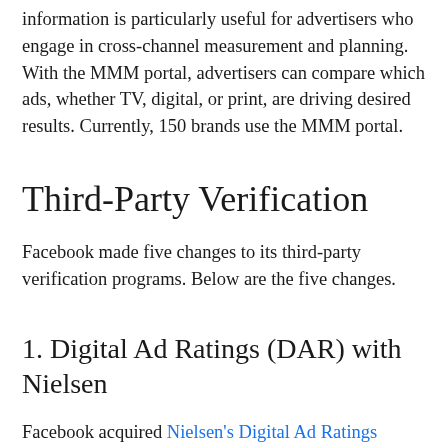information is particularly useful for advertisers who engage in cross-channel measurement and planning. With the MMM portal, advertisers can compare which ads, whether TV, digital, or print, are driving desired results. Currently, 150 brands use the MMM portal.
Third-Party Verification
Facebook made five changes to its third-party verification programs. Below are the five changes.
1. Digital Ad Ratings (DAR) with Nielsen
Facebook acquired Nielsen's Digital Ad Ratings (DAR), a product that will help advertisers measure reach and in-target performance on desktop and